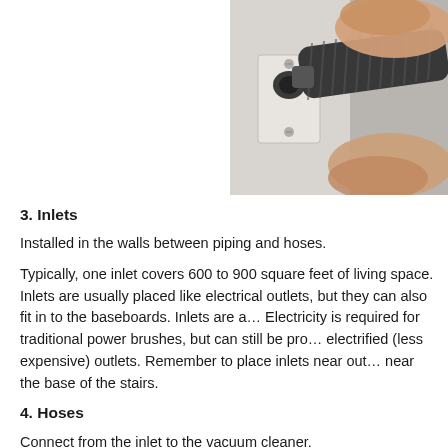[Figure (photo): A person's hand plugging a vacuum cleaner hose into a wall inlet plate mounted on a white wall.]
3. Inlets
Installed in the walls between piping and hoses.
Typically, one inlet covers 600 to 900 square feet of living space. Inlets are usually placed like electrical outlets, but they can also fit in to the baseboards. Inlets are a… Electricity is required for traditional power brushes, but can still be pro… electrified (less expensive) outlets. Remember to place inlets near out… near the base of the stairs.
4. Hoses
Connect from the inlet to the vacuum cleaner.
Hoses normally come in 30-foot lengths, but 35-footers are available…